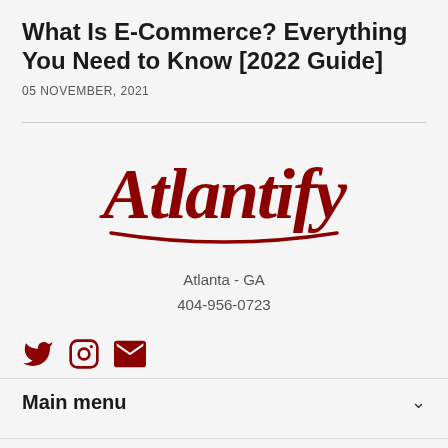What Is E-Commerce? Everything You Need to Know [2022 Guide]
05 NOVEMBER, 2021
[Figure (logo): Atlantify logo in dark red cursive/script font with underline swoosh]
Atlanta - GA
404-956-0723
[Figure (infographic): Social media icons: Twitter bird, Instagram circle, Email envelope - all in dark red]
Main menu
About